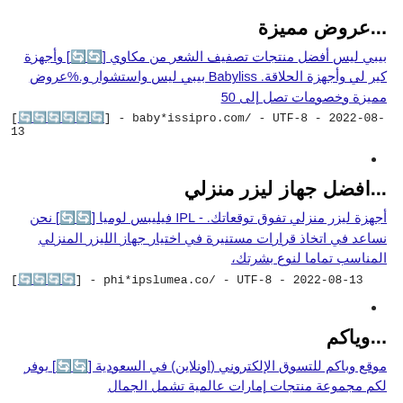...عروض مميزة
بيبي ليس أفضل منتجات تصفيف الشعر من مكاوي [🔄🔄] وأجهزة كير لي وأجهزة الحلاقة. Babyliss بيبي ليس واستشوار و.%عروض مميزة وخصومات تصل إلى 50
[🔄🔄🔄🔄🔄🔄] - baby*issipro.com/ - UTF-8 - 2022-08-13
•
...افضل جهاز ليزر منزلي
أجهزة ليزر منزلي تفوق توقعاتك. - IPL فيليبس لوميا [🔄🔄] نحن نساعد في اتخاذ قرارات مستنيرة في اختيار جهاز الليزر المنزلي المناسب تماما لنوع بشرتك،
[🔄🔄🔄🔄] - phi*ipslumea.co/ - UTF-8 - 2022-08-13
•
...وياكم
موقع وباكم للتسوق الإلكتروني (اونلاين) في السعودية [🔄🔄] يوفر لكم مجموعة منتجات إمارات عالمية تشمل الجمال